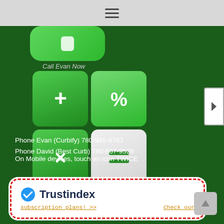[Figure (screenshot): Top navigation bar with hamburger menu icon on grey background]
[Figure (illustration): Green rounded square app icon (partial, cut off at top) representing a phone call button]
Call Evan Now
[Figure (illustration): 2x2 grid of calculator-style buttons: plus (+) on dark green, percent (%) on medium green, multiply (x) on dark green, equals (=) on light grey/white]
Use estimating tool
Phone Evan (Curbify) 780-945-6787
Phone David (Best Curb) 780-667-9528
On Mobile devices, touch an icon TWICE
[Figure (infographic): Trustindex widget box with white background, red dashed border, blue checkmark icon, bold Trustindex title, and orange links: subscription plans! >> and Check our]